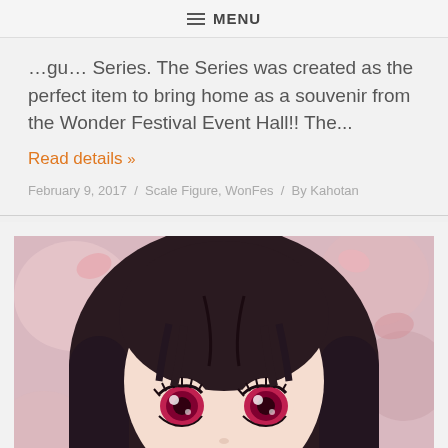MENU
...gu... Series. The Series was created as the perfect item to bring home as a souvenir from the Wonder Festival Event Hall!! The...
Read details »
February 9, 2017 / Scale Figure, WonFes / By Kahotan
[Figure (photo): Close-up photo of an anime-style figure with dark brown hair, white hairband, and large red/pink eyes, posed with hand near chin against a blurred pink floral background.]